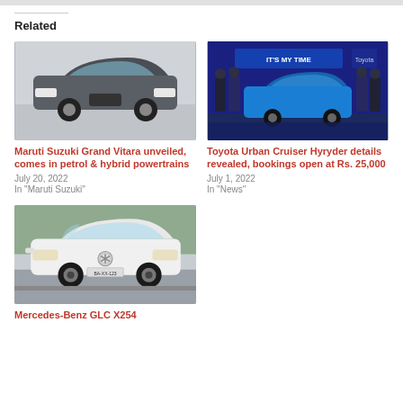Related
[Figure (photo): Maruti Suzuki Grand Vitara SUV in dark grey color, front three-quarter view on white background]
Maruti Suzuki Grand Vitara unveiled, comes in petrol & hybrid powertrains
July 20, 2022
In "Maruti Suzuki"
[Figure (photo): Toyota Urban Cruiser Hyryder launch event with blue car and executives on stage, 'IT'S MY TIME' banner in background]
Toyota Urban Cruiser Hyryder details revealed, bookings open at Rs. 25,000
July 1, 2022
In "News"
[Figure (photo): Mercedes-Benz GLC X254 in white color, front three-quarter view on a road with trees in background]
Mercedes-Benz GLC X254